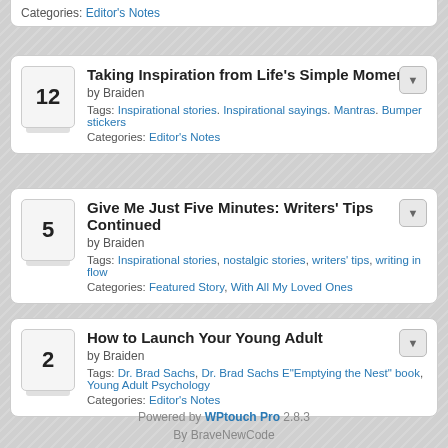Categories: Editor's Notes
Taking Inspiration from Life's Simple Moments
by Braiden
Tags: Inspirational stories, Inspirational sayings, Mantras, Bumper stickers
Categories: Editor's Notes
Give Me Just Five Minutes: Writers' Tips Continued
by Braiden
Tags: Inspirational stories, nostalgic stories, writers' tips, writing in flow
Categories: Featured Story, With All My Loved Ones
How to Launch Your Young Adult
by Braiden
Tags: Dr. Brad Sachs, Dr. Brad Sachs E"Emptying the Nest" book, Young Adult Psychology
Categories: Editor's Notes
Powered by WPtouch Pro 2.8.3
By BraveNewCode